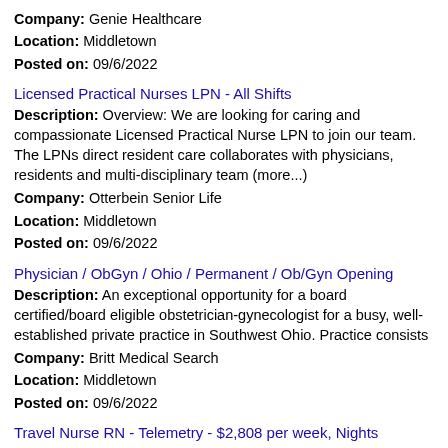Company: Genie Healthcare
Location: Middletown
Posted on: 09/6/2022
Licensed Practical Nurses LPN - All Shifts
Description: Overview: We are looking for caring and compassionate Licensed Practical Nurse LPN to join our team. The LPNs direct resident care collaborates with physicians, residents and multi-disciplinary team (more...)
Company: Otterbein Senior Life
Location: Middletown
Posted on: 09/6/2022
Physician / ObGyn / Ohio / Permanent / Ob/Gyn Opening
Description: An exceptional opportunity for a board certified/board eligible obstetrician-gynecologist for a busy, well-established private practice in Southwest Ohio. Practice consists
Company: Britt Medical Search
Location: Middletown
Posted on: 09/6/2022
Travel Nurse RN - Telemetry - $2,808 per week, Nights
Description: Accountable Healthcare Staffing is seeking a travel nurse RN Telemetry for a travel nursing job in Middleto...